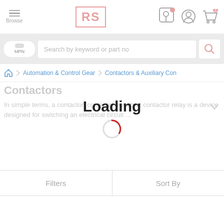[Figure (screenshot): RS Components website header with hamburger menu, RS logo, location pin icon, user account icon, and shopping cart icon with 0 badge]
[Figure (screenshot): Search bar with MPN toggle button and 'Search by keyword or part no' placeholder text, with search magnifier icon]
Automation & Control Gear > Contactors & Auxiliary Con
Contactors
In simple terms, a contactor, contactor switch or contactor relay is a device designed for switching an electrical circuit ...
Loading
[Figure (other): Circular loading spinner, partially red arc indicating loading in progress]
Filters
Sort By